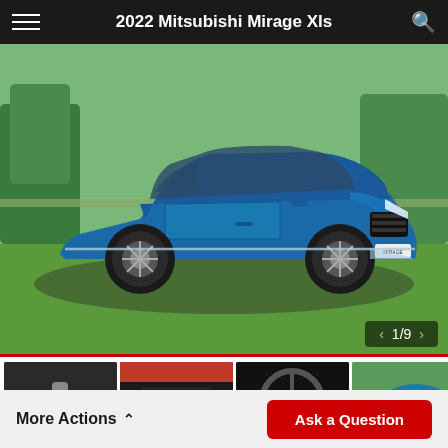2022 Mitsubishi Mirage Xls
[Figure (photo): Blue 2022 Mitsubishi Mirage Xls hatchback parked on green grass with trees in background. Front 3/4 view showing the full car.]
[Figure (photo): Thumbnail gallery showing 6 smaller images of the car: interior gear area, dashboard/infotainment, steering wheel/instruments, exterior rear, exterior front, partial exterior side.]
More Actions ↑
Ask a Question